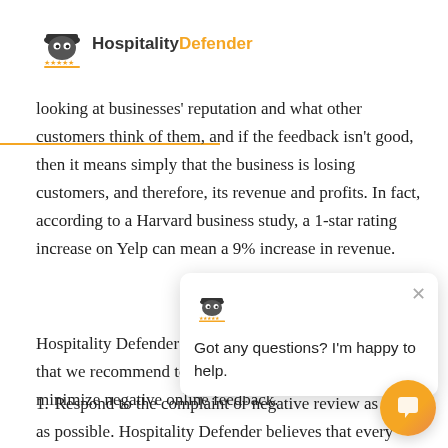HospitalityDefender
looking at businesses' reputation and what other customers think of them, and if the feedback isn't good, then it means simply that the business is losing customers, and therefore, its revenue and profits. In fact, according to a Harvard business study, a 1-star rating increase on Yelp can mean a 9% increase in revenue.
Hospitality Defender has several tactics and suggestions that we recommend to our clients to help manage and minimize negative online feedback.
Respond to the complaint or negative review as soon as possible. Hospitality Defender believes that every minute counts, and responds on our clients' behalf, seamlessly and transparently, within 3 hours, and usually within a matter of
[Figure (screenshot): Chat widget overlay showing a mascot icon and message 'Got any questions? I'm happy to help.' with a close button, and an orange circular chat button in the bottom right corner.]